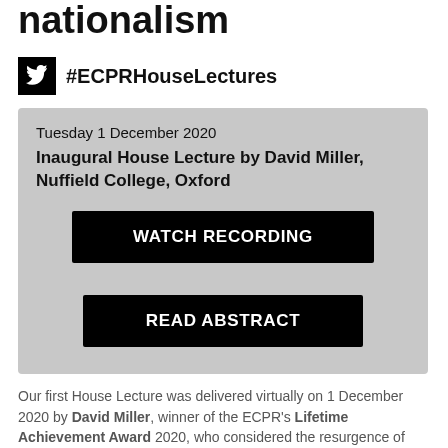nationalism
#ECPRHouseLectures
Tuesday 1 December 2020
Inaugural House Lecture by David Miller, Nuffield College, Oxford
WATCH RECORDING
READ ABSTRACT
Our first House Lecture was delivered virtually on 1 December 2020 by David Miller, winner of the ECPR's Lifetime Achievement Award 2020, who considered the resurgence of nationalism.